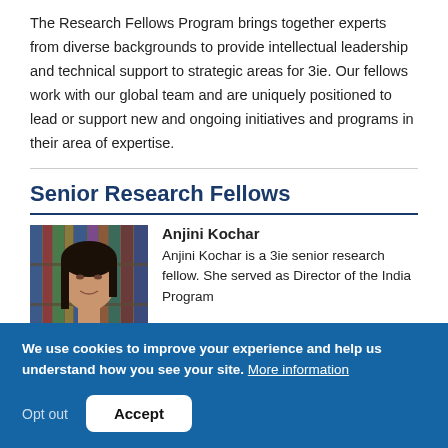The Research Fellows Program brings together experts from diverse backgrounds to provide intellectual leadership and technical support to strategic areas for 3ie. Our fellows work with our global team and are uniquely positioned to lead or support new and ongoing initiatives and programs in their area of expertise.
Senior Research Fellows
[Figure (photo): Portrait photo of Anjini Kochar, a woman with dark hair, with bookshelves visible in the background.]
Anjini Kochar
Anjini Kochar is a 3ie senior research fellow. She served as Director of the India Program
We use cookies to improve your experience and help us understand how you see your site. More information
Opt out   Accept